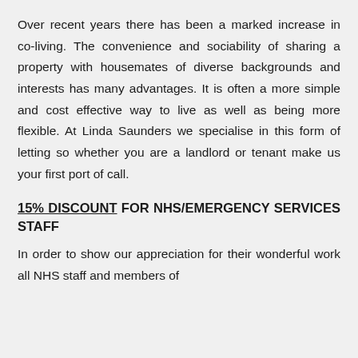Over recent years there has been a marked increase in co-living. The convenience and sociability of sharing a property with housemates of diverse backgrounds and interests has many advantages. It is often a more simple and cost effective way to live as well as being more flexible. At Linda Saunders we specialise in this form of letting so whether you are a landlord or tenant make us your first port of call.
15% DISCOUNT FOR NHS/EMERGENCY SERVICES STAFF
In order to show our appreciation for their wonderful work all NHS staff and members of